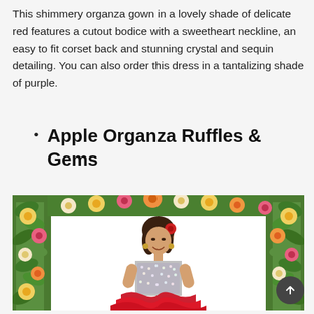This shimmery organza gown in a lovely shade of delicate red features a cutout bodice with a sweetheart neckline, an easy to fit corset back and stunning crystal and sequin detailing. You can also order this dress in a tantalizing shade of purple.
Apple Organza Ruffles & Gems
[Figure (photo): A woman wearing a red organza ruffle gown with crystal and sequin bodice, posing in front of a floral arch with colorful flowers and greenery.]